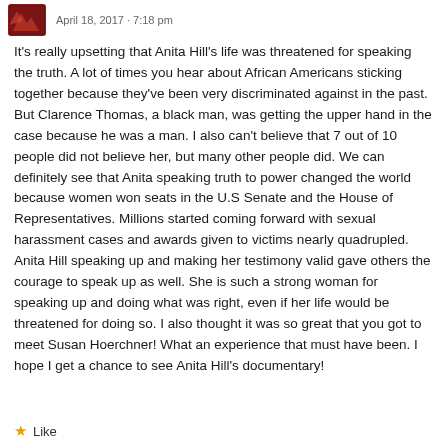April 18, 2017 · 7:18 pm
It's really upsetting that Anita Hill's life was threatened for speaking the truth. A lot of times you hear about African Americans sticking together because they've been very discriminated against in the past. But Clarence Thomas, a black man, was getting the upper hand in the case because he was a man. I also can't believe that 7 out of 10 people did not believe her, but many other people did. We can definitely see that Anita speaking truth to power changed the world because women won seats in the U.S Senate and the House of Representatives. Millions started coming forward with sexual harassment cases and awards given to victims nearly quadrupled. Anita Hill speaking up and making her testimony valid gave others the courage to speak up as well. She is such a strong woman for speaking up and doing what was right, even if her life would be threatened for doing so. I also thought it was so great that you got to meet Susan Hoerchner! What an experience that must have been. I hope I get a chance to see Anita Hill's documentary!
★ Like